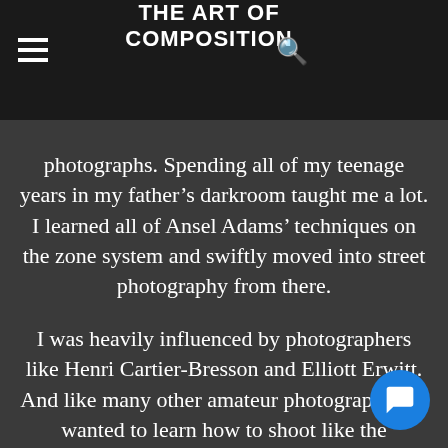THE ART OF COMPOSITION
n 1982, I have g better photographs. Spending all of my teenage years in my father's darkroom taught me a lot. I learned all of Ansel Adams' techniques on the zone system and swiftly moved into street photography from there.
I was heavily influenced by photographers like Henri Cartier-Bresson and Elliott Erwitt. And like many other amateur photographers, I wanted to learn how to shoot like the "masters." But unfortunately, sometimes our passion is limited by our lack of knowledge and experience. In other words, I kept hitting a wall with my progress regardless of how many photobooks I purchased or how many hours I spent shooting. What was